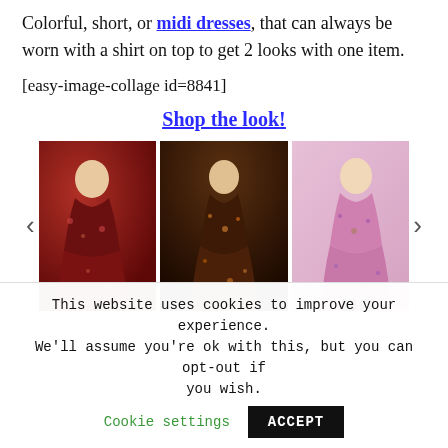Colorful, short, or midi dresses, that can always be worn with a shirt on top to get 2 looks with one item.
[easy-image-collage id=8841]
Shop the look!
[Figure (photo): A carousel of three dress photos: a dark red floral short dress, a dark floral midi dress, and a pink floral midi dress. Left and right navigation arrows flank the images.]
This website uses cookies to improve your experience. We'll assume you're ok with this, but you can opt-out if you wish. Cookie settings ACCEPT